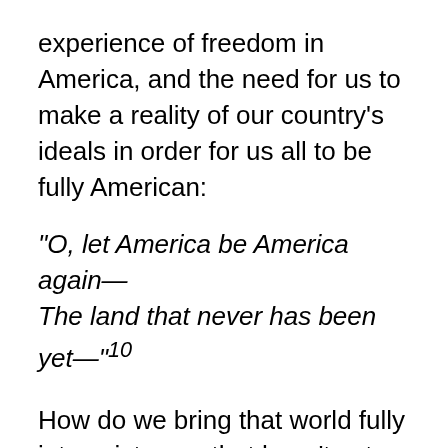his finger on the racially differential experience of freedom in America, and the need for us to make a reality of our country's ideals in order for us all to be fully American:
“O, let America be America again— The land that never has been yet—”10
How do we bring that world fully into existence, that hasn’t yet been? It takes conversation, to be sure, and also thoughtful ideation, and action through policy by the people in power to begin and persist to create that change. Those with financial and cultural power won’t share it easily if they can’t imagine the